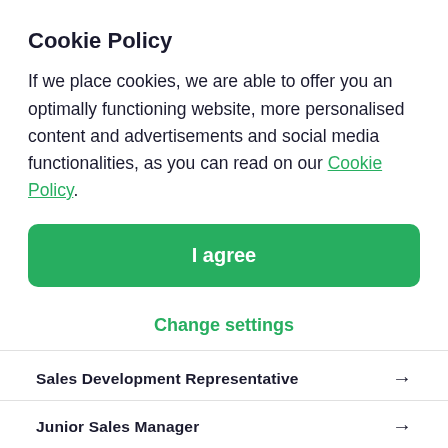Cookie Policy
If we place cookies, we are able to offer you an optimally functioning website, more personalised content and advertisements and social media functionalities, as you can read on our Cookie Policy.
I agree
Change settings
Sales Development Representative →
Junior Sales Manager →